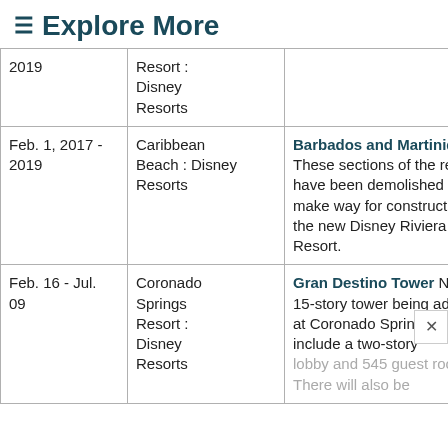≡ Explore More
| Date | Location | Description |
| --- | --- | --- |
| 2019 | Resort : Disney Resorts |  |
| Feb. 1, 2017 - 2019 | Caribbean Beach : Disney Resorts | Barbados and Martinique These sections of the resort have been demolished to make way for construction of the new Disney Riviera Resort. |
| Feb. 16 - Jul. 09 | Coronado Springs Resort : Disney Resorts | Gran Destino Tower New 15-story tower being added at Coronado Springs, will include a two-story lobby and 545 guest rooms. There will also be |